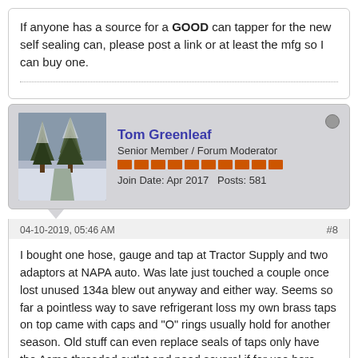If anyone has a source for a GOOD can tapper for the new self sealing can, please post a link or at least the mfg so I can buy one.
Tom Greenleaf
Senior Member / Forum Moderator
Join Date: Apr 2017   Posts: 581
04-10-2019, 05:46 AM
#8
I bought one hose, gauge and tap at Tractor Supply and two adaptors at NAPA auto. Was late just touched a couple once lost unused 134a blew out anyway and either way. Seems so far a pointless way to save refrigerant loss my own brass taps on top came with caps and "O" rings usually hold for another season. Old stuff can even replace seals of taps only have the Acme threaded outlet and need several if for use here, there or thru gauges. Marked and weighed if touched and again when needed.